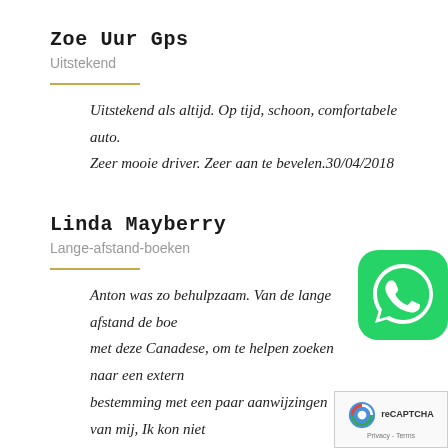Zoe Uur Gps
Uitstekend
Uitstekend als altijd. Op tijd, schoon, comfortabele auto. Zeer mooie driver. Zeer aan te bevelen.30/04/2018
Linda Mayberry
Lange-afstand-boeken
Anton was zo behulpzaam. Van de lange afstand de boe... met deze Canadese, om te helpen zoeken naar een extern... bestemming met een paar aanwijzingen van mij, Ik kon niet meer tevreden. Patiënt, vriendelijk en meer dan een eerlijke prijzen. Ik geef je een zes als ik kon, Anton, nogmaals
[Figure (logo): WhatsApp icon - green rounded square with white phone handset]
[Figure (other): reCAPTCHA badge with Privacy and Terms links]